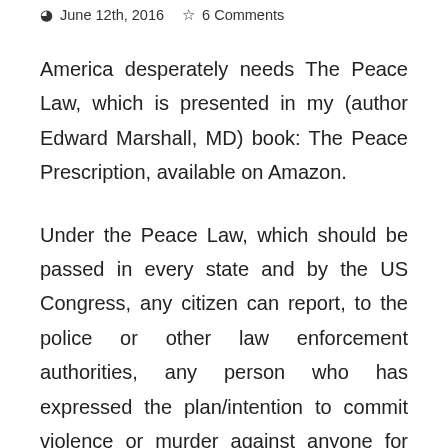June 12th, 2016   6 Comments
America desperately needs The Peace Law, which is presented in my (author Edward Marshall, MD) book: The Peace Prescription, available on Amazon.
Under the Peace Law, which should be passed in every state and by the US Congress, any citizen can report, to the police or other law enforcement authorities, any person who has expressed the plan/intention to commit violence or murder against anyone for any reason other than self defense. Any intentionally false